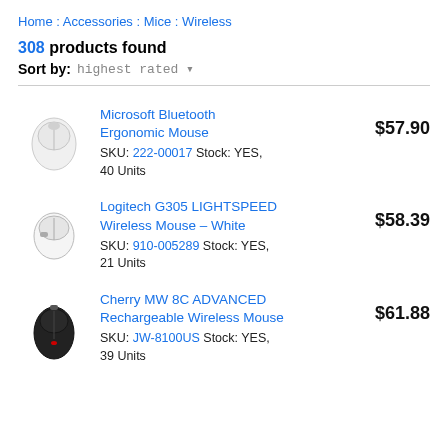Home : Accessories : Mice : Wireless
308 products found
Sort by: highest rated
Microsoft Bluetooth Ergonomic Mouse
SKU: 222-00017 Stock: YES, 40 Units
$57.90
Logitech G305 LIGHTSPEED Wireless Mouse – White
SKU: 910-005289 Stock: YES, 21 Units
$58.39
Cherry MW 8C ADVANCED Rechargeable Wireless Mouse
SKU: JW-8100US Stock: YES, 39 Units
$61.88